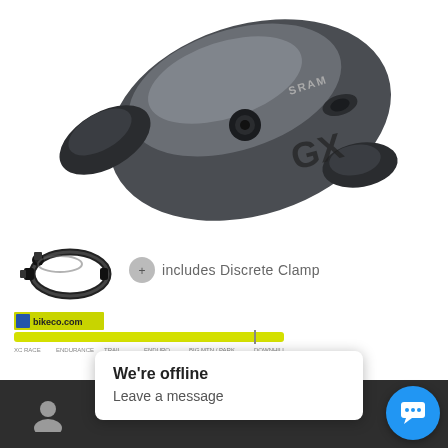[Figure (photo): SRAM GX 12-speed bicycle shifter, dark grey/black, top-down view showing the GX logo and SRAM branding]
[Figure (photo): Small black discrete clamp accessory for bicycle handlebar mounting, shown next to an icon and the text 'includes Discrete Clamp', with bikeco.com discipline bar beneath showing XC RACE, ENDURANCE, TRAIL, ENDURO, BIG MTN / PARK, DOWNHILL categories highlighted in yellow-green]
SRAM GX Shifter 12sp
$49.00
In stock
We're offline
Leave a message